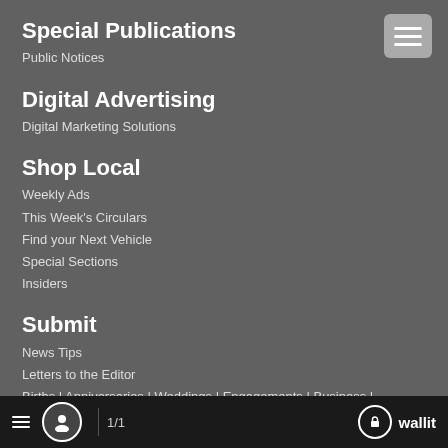Special Publications
Public Notices
Digital Advertising
Digital Marketing Solutions
Shop Local
Weekly Ads
This Week's Circulars
Find your Next Vehicle
Special Sections
Insiders
Submit
News Tips
Letters to the Editor
Births | Anniversaries | Weddings | Engagements | Business |
≡  👤  1/1  🔒 wallit